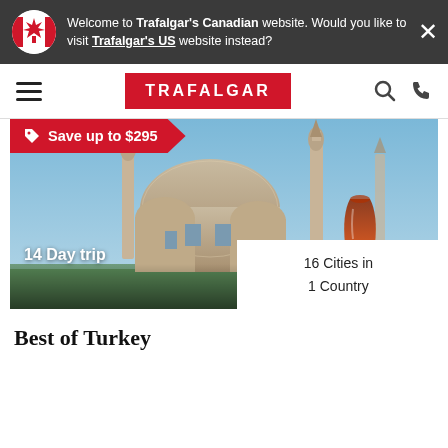Welcome to Trafalgar's Canadian website. Would you like to visit Trafalgar's US website instead?
[Figure (screenshot): Trafalgar travel website screenshot showing a Turkey tour listing with mosque photo, save banner, navigation bar, and tour details]
Save up to $295
14 Day trip
16 Cities in 1 Country
Best of Turkey